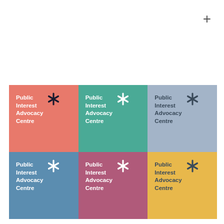[Figure (logo): Six colored square tiles arranged in a 3x2 grid, each containing the Public Interest Advocacy Centre logo with a snowflake/asterisk mark and bold text reading 'Public Interest Advocacy Centre'. Colors: salmon/red, teal, slate/grey-blue (top row); blue, mauve/pink, yellow/gold (bottom row). A plus sign appears in the upper right corner of the page above the grid.]